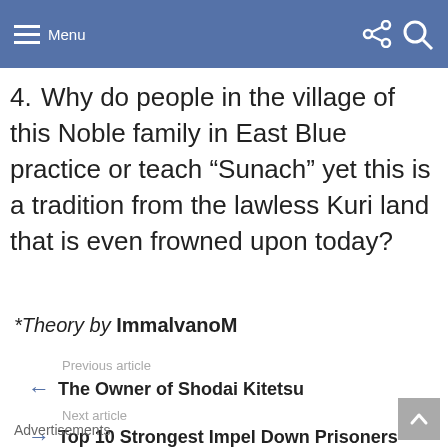Menu
4. Why do people in the village of this Noble family in East Blue practice or teach “Sunach” yet this is a tradition from the lawless Kuri land that is even frowned upon today?
*Theory by ImmalvanoM
Previous article
The Owner of Shodai Kitetsu
Next article
Top 10 Strongest Impel Down Prisoners
Advertisements